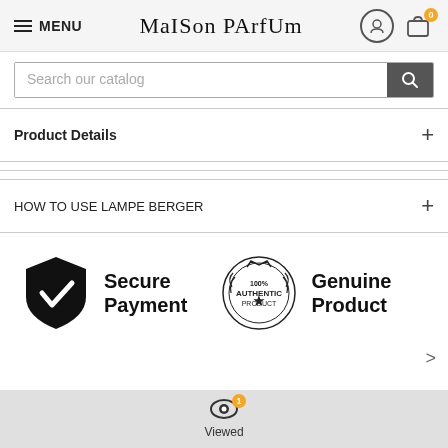MENU | Maison PArfUm
Search our catalog
Product Details
HOW TO USE LAMPE BERGER
[Figure (infographic): Secure Payment shield icon and 100% Authentic Product badge with Genuine Product text]
16 OTHER PRODUCTS IN THE SAME CATEGORY:
Viewed (1)